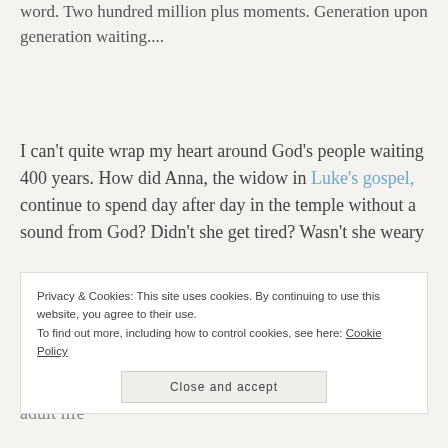word. Two hundred million plus moments. Generation upon generation waiting....
I can’t quite wrap my heart around God’s people waiting 400 years. How did Anna, the widow in Luke’s gospel, continue to spend day after day in the temple without a sound from God? Didn’t she get tired? Wasn’t she weary
Privacy & Cookies: This site uses cookies. By continuing to use this website, you agree to their use.
To find out more, including how to control cookies, see here: Cookie Policy
Close and accept
adult life